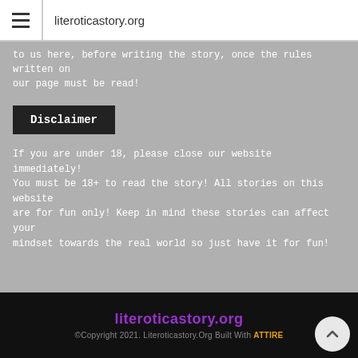literoticastory.org
to us here, before writing the story, once the rules written on our page must be read!
Disclaimer
If you are under 18, please close our website immediately! You must be 18+ to read the story! All stories on this website are for fun only! Keep in mind these stories can affect your mindset towards the real world so just have it for fun!
literoticastory.org
©Copyright 2021. Literoticastory.Org Built With ATTIRE